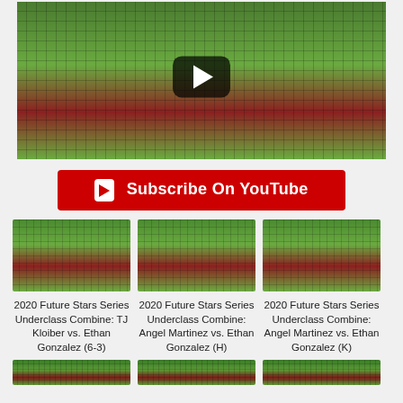[Figure (screenshot): Baseball game video thumbnail showing a batter, catcher, and umpire at home plate with a green netting overlay and a YouTube play button overlay]
Subscribe On YouTube
[Figure (screenshot): Baseball game thumbnail 1 - small version]
2020 Future Stars Series Underclass Combine: TJ Kloiber vs. Ethan Gonzalez (6-3)
[Figure (screenshot): Baseball game thumbnail 2 - small version]
2020 Future Stars Series Underclass Combine: Angel Martinez vs. Ethan Gonzalez (H)
[Figure (screenshot): Baseball game thumbnail 3 - small version]
2020 Future Stars Series Underclass Combine: Angel Martinez vs. Ethan Gonzalez (K)